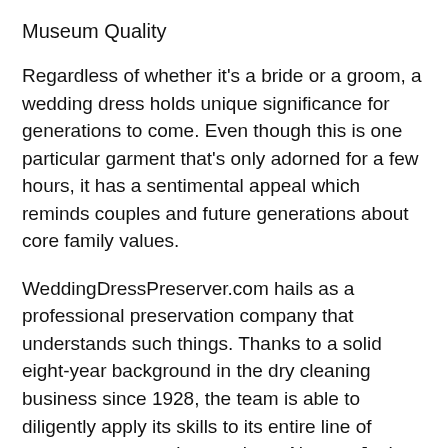Museum Quality
Regardless of whether it's a bride or a groom, a wedding dress holds unique significance for generations to come. Even though this is one particular garment that's only adorned for a few hours, it has a sentimental appeal which reminds couples and future generations about core family values.
WeddingDressPreserver.com hails as a professional preservation company that understands such things. Thanks to a solid eight-year background in the dry cleaning business since 1928, the team is able to diligently apply its skills to its entire line of garment preservation services. Also, as Josh Munro likes to admit, he's passionate about wedding gown